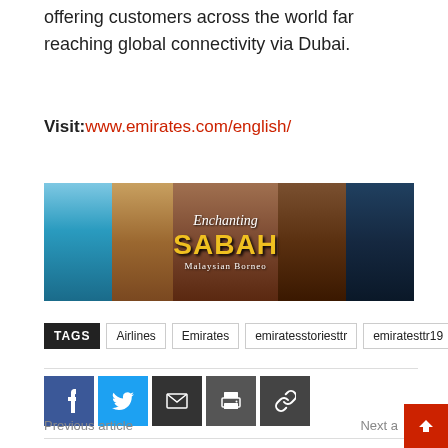offering customers across the world far reaching global connectivity via Dubai.
Visit: www.emirates.com/english/
[Figure (photo): Banner image for Enchanting Sabah, Malaysian Borneo, showing aerial island view, indigenous woman with traditional headdress, orangutan, and sea turtle.]
TAGS: Airlines | Emirates | emiratesstoriesttr | emiratesttr19
[Figure (infographic): Social sharing buttons: Facebook (blue), Twitter (cyan), Email (dark), Print (dark grey), Link (dark grey)]
Previous article
Next a